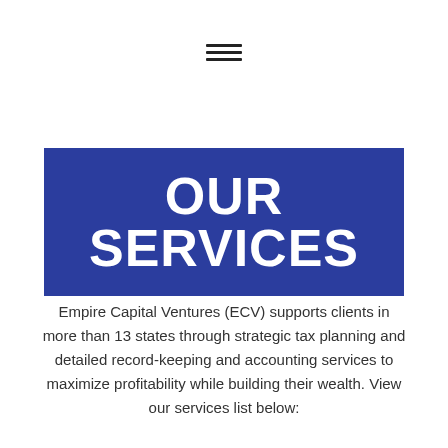[Figure (other): Hamburger menu icon — three horizontal lines stacked vertically, centered near top of page]
OUR SERVICES
Empire Capital Ventures (ECV) supports clients in more than 13 states through strategic tax planning and detailed record-keeping and accounting services to maximize profitability while building their wealth. View our services list below: